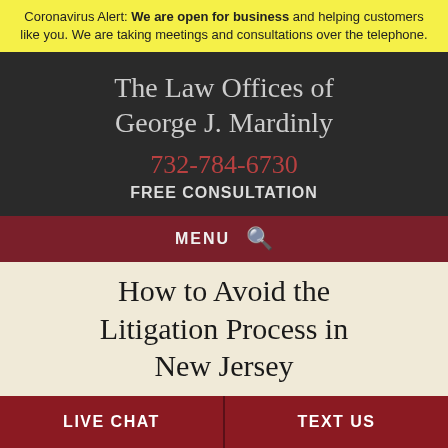Coronavirus Alert: We are open for business and helping customers like you. We are taking meetings and consultations over the telephone.
The Law Offices of George J. Mardinly
732-784-6730
FREE CONSULTATION
MENU
How to Avoid the Litigation Process in New Jersey
LIVE CHAT
TEXT US